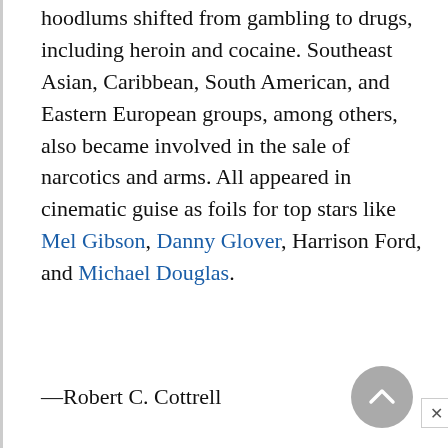hoodlums shifted from gambling to drugs, including heroin and cocaine. Southeast Asian, Caribbean, South American, and Eastern European groups, among others, also became involved in the sale of narcotics and arms. All appeared in cinematic guise as foils for top stars like Mel Gibson, Danny Glover, Harrison Ford, and Michael Douglas.
—Robert C. Cottrell